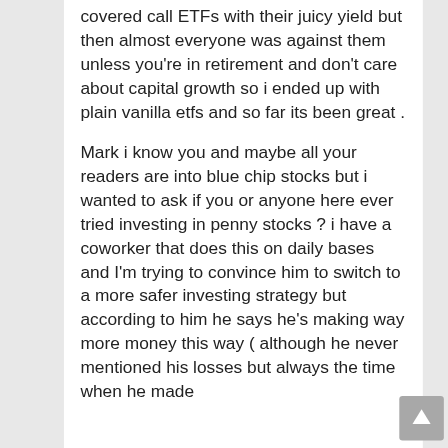covered call ETFs with their juicy yield but then almost everyone was against them unless you're in retirement and don't care about capital growth so i ended up with plain vanilla etfs and so far its been great .
Mark i know you and maybe all your readers are into blue chip stocks but i wanted to ask if you or anyone here ever tried investing in penny stocks ? i have a coworker that does this on daily bases and I'm trying to convince him to switch to a more safer investing strategy but according to him he says he's making way more money this way ( although he never mentioned his losses but always the time when he made